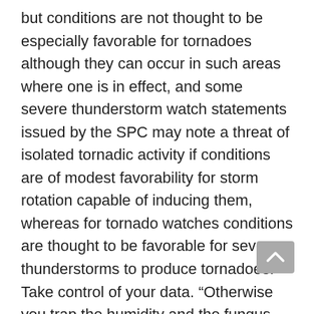but conditions are not thought to be especially favorable for tornadoes although they can occur in such areas where one is in effect, and some severe thunderstorm watch statements issued by the SPC may note a threat of isolated tornadic activity if conditions are of modest favorability for storm rotation capable of inducing them, whereas for tornado watches conditions are thought to be favorable for severe thunderstorms to produce tornadoes. Take control of your data. “Otherwise you trap the humidity and the fungus has a private party. 4 cm and/or isolated tornadoes often of shorter duration and varying weak to moderate intensity, depending on the available wind shear and other sufficient atmospheric parameters. If the sustained velocity of the winds exceeds 63km/h 39 mph, it becomes a tropical storm. Emergency Kit Booklet. Today’s tornado threat. Com is managed by Graham